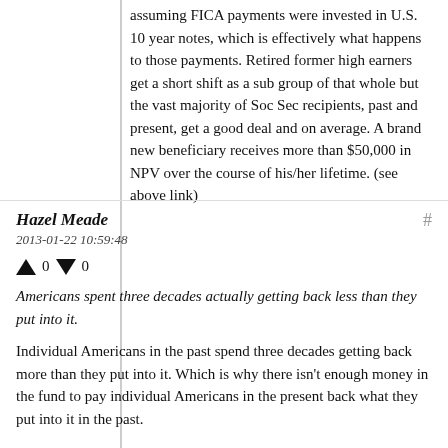assuming FICA payments were invested in U.S. 10 year notes, which is effectively what happens to those payments. Retired former high earners get a short shift as a sub group of that whole but the vast majority of Soc Sec recipients, past and present, get a good deal and on average. A brand new beneficiary receives more than $50,000 in NPV over the course of his/her lifetime. (see above link)
Hazel Meade
2013-01-22 10:59:48
↑ 0 ↓ 0
Americans spent three decades actually getting back less than they put into it.
Individual Americans in the past spend three decades getting back more than they put into it. Which is why there isn't enough money in the fund to pay individual Americans in the present back what they put into it in the past.